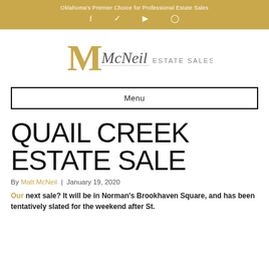Oklahoma's Premier Choice for Professional Estate Sales
[Figure (logo): McNeil Estate Sales logo with stylized M and cursive McNeil text]
Menu
QUAIL CREEK ESTATE SALE
By Matt McNeil | January 19, 2020
Our next sale? It will be in Norman's Brookhaven Square, and has been tentatively slated for the weekend after St.